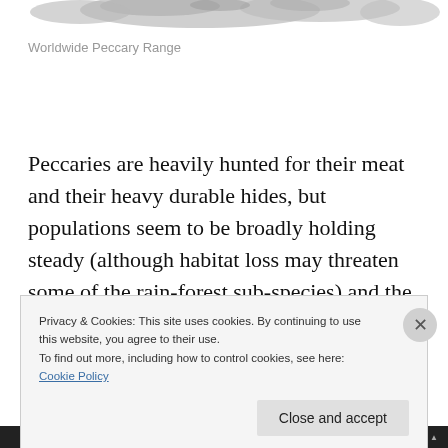[Figure (map): Partial view of a world map showing Worldwide Peccary Range, cropped at top]
Worldwide Peccary Range
Peccaries are heavily hunted for their meat and their heavy durable hides, but populations seem to be broadly holding steady (although habitat loss may threaten some of the rain-forest sub-species) and the Chacoan peccary or tagua has remained thin on the ground since its
Privacy & Cookies: This site uses cookies. By continuing to use this website, you agree to their use.
To find out more, including how to control cookies, see here: Cookie Policy
[Close and accept]